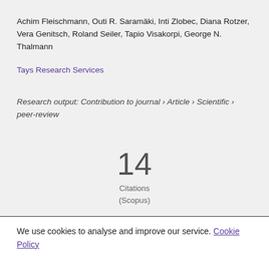Achim Fleischmann, Outi R. Saramäki, Inti Zlobec, Diana Rotzer, Vera Genitsch, Roland Seiler, Tapio Visakorpi, George N. Thalmann
Tays Research Services
Research output: Contribution to journal › Article › Scientific › peer-review
14 Citations (Scopus)
We use cookies to analyse and improve our service. Cookie Policy